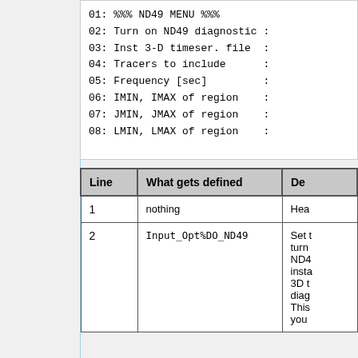01: %%% ND49 MENU %%%
02: Turn on ND49 diagnostic :
03: Inst 3-D timeser. file  :
04: Tracers to include      :
05: Frequency [sec]         :
06: IMIN, IMAX of region    :
07: JMIN, JMAX of region    :
08: LMIN, LMAX of region    :
| Line | What gets defined | De |
| --- | --- | --- |
| 1 | nothing | Hea |
| 2 | Input_Opt%DO_ND49 | Set t turn ND4 insta 3D t diag This you |